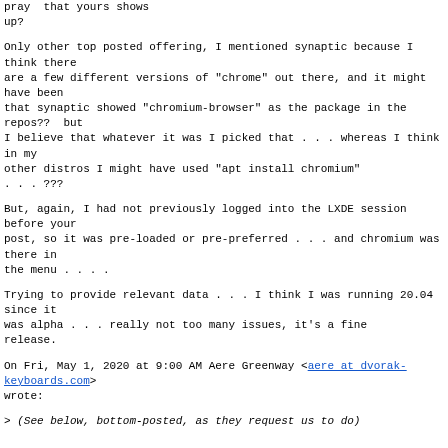pray  that yours shows
up?
Only other top posted offering, I mentioned synaptic because I think there
are a few different versions of "chrome" out there, and it might have been
that synaptic showed "chromium-browser" as the package in the repos??  but
I believe that whatever it was I picked that . . . whereas I think in my
other distros I might have used "apt install chromium"
. . . ???
But, again, I had not previously logged into the LXDE session before your
post, so it was pre-loaded or pre-preferred . . . and chromium was there in
the menu . . . .
Trying to provide relevant data . . . I think I was running 20.04 since it
was alpha . . . really not too many issues, it's a fine
release.
On Fri, May 1, 2020 at 9:00 AM Aere Greenway <aere at dvorak-keyboards.com>
wrote:
> (See below, bottom-posted, as they request us to do)